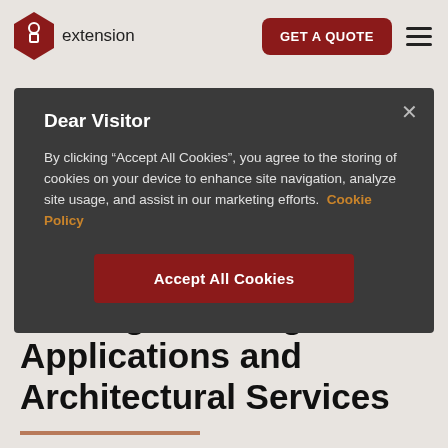extension | GET A QUOTE
Dear Visitor
By clicking “Accept All Cookies”, you agree to the storing of cookies on your device to enhance site navigation, analyze site usage, and assist in our marketing efforts.  Cookie Policy
Accept All Cookies
Woking Planning Applications and Architectural Services
Woking is a small town in northwest Surrey, England, at the southwestern edge of Greater London. Just 30 minutes from